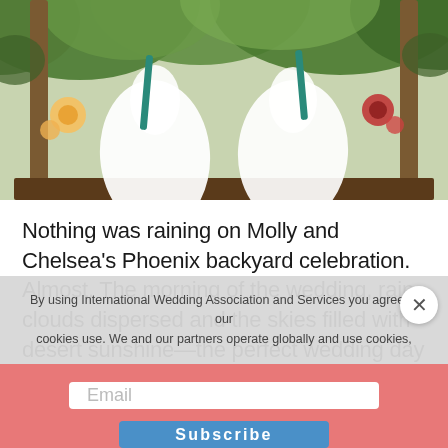[Figure (photo): Wedding photo of two brides in white dresses standing on a wooden platform outdoors, surrounded by green foliage, flowers, and teal ribbons. Rustic backyard Phoenix wedding setting.]
Nothing was raining on Molly and Chelsea's Phoenix backyard celebration. Almost. The morning of the wedding, rain clouds dispersed and the skies filled with desert sunshine—the perfect wedding day weather. With the help of their loved ones, wedding planner Bloom & Blueprint Event Co., and a talented team of vendors, this couple was able to transform an
By using International Wedding Association and Services you agree to our cookies use. We and our partners operate globally and use cookies,
Email
Subscribe